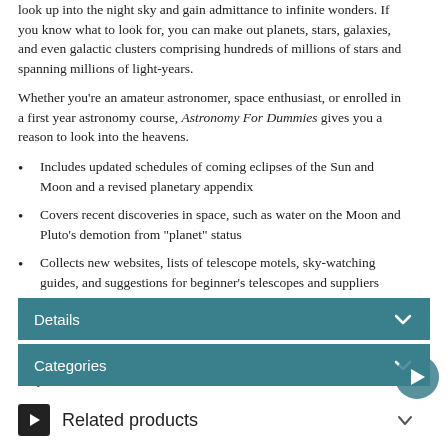look up into the night sky and gain admittance to infinite wonders. If you know what to look for, you can make out planets, stars, galaxies, and even galactic clusters comprising hundreds of millions of stars and spanning millions of light-years.
Whether you're an amateur astronomer, space enthusiast, or enrolled in a first year astronomy course, Astronomy For Dummies gives you a reason to look into the heavens.
Includes updated schedules of coming eclipses of the Sun and Moon and a revised planetary appendix
Covers recent discoveries in space, such as water on the Moon and Pluto's demotion from "planet" status
Collects new websites, lists of telescope motels, sky-watching guides, and suggestions for beginner's telescopes and suppliers
Provides free online access to chapter quizzes to help you understand the content
Ever wonder what's out there in the big ol' universe? This is the book for you!
Details
Categories
Related products